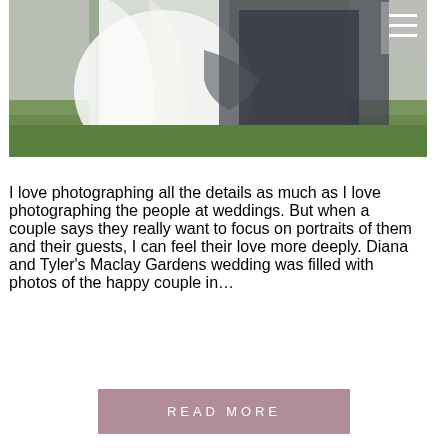[Figure (photo): Wedding photo of a couple embracing outdoors in a garden. The bride is in a white dress with a veil and the groom is in a dark suit. Green grass and trees visible in the background.]
I love photographing all the details as much as I love photographing the people at weddings. But when a couple says they really want to focus on portraits of them and their guests, I can feel their love more deeply. Diana and Tyler's Maclay Gardens wedding was filled with photos of the happy couple in…
READ MORE